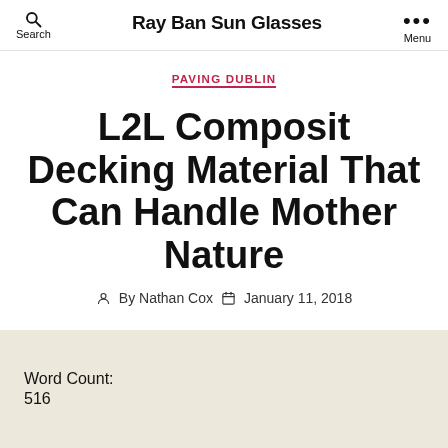Ray Ban Sun Glasses | Search | Menu
PAVING DUBLIN
L2L Composit Decking Material That Can Handle Mother Nature
By Nathan Cox  January 11, 2018
Word Count:
516